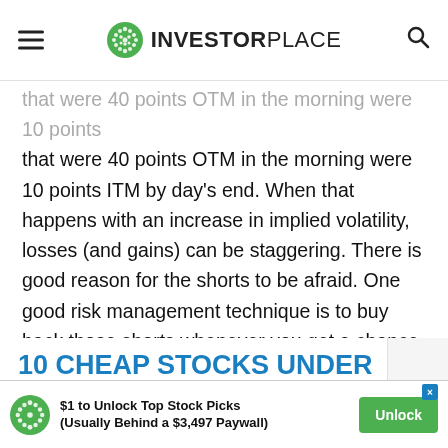INVESTORPLACE
that were 40 points OTM in the morning were 10 points ITM by day's end. When that happens with an increase in implied volatility, losses (and gains) can be staggering. There is good reason for the shorts to be afraid. One good risk management technique is to buy back those shorts whenever you get a chance to do so at a low price. Remaining short with the hope of collecting every last penny of premium is a high-risk game.
10 CHEAP STOCKS UNDER $10 TO BUY NOW
$1 to Unlock Top Stock Picks (Usually Behind a $3,497 Paywall)